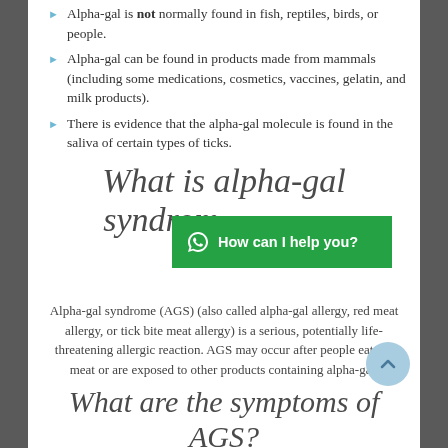Alpha-gal is not normally found in fish, reptiles, birds, or people.
Alpha-gal can be found in products made from mammals (including some medications, cosmetics, vaccines, gelatin, and milk products).
There is evidence that the alpha-gal molecule is found in the saliva of certain types of ticks.
What is alpha-gal syndrome (AGS)?
Alpha-gal syndrome (AGS) (also called alpha-gal allergy, red meat allergy, or tick bite meat allergy) is a serious, potentially life-threatening allergic reaction. AGS may occur after people eat red meat or are exposed to other products containing alpha-gal.
What are the symptoms of AGS?